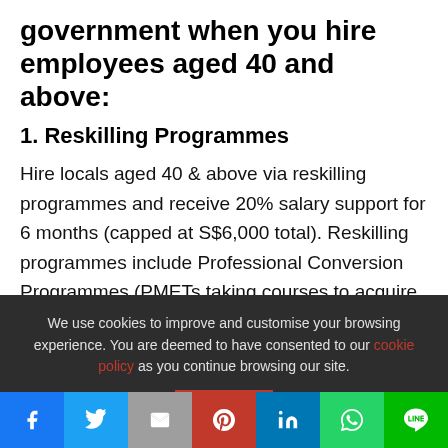government when you hire employees aged 40 and above:
1. Reskilling Programmes
Hire locals aged 40 & above via reskilling programmes and receive 20% salary support for 6 months (capped at S$6,000 total). Reskilling programmes include Professional Conversion Programmes (PMETs taking courses to acquire new skills to take on a new occupation or move to
We use cookies to improve and customise your browsing experience. You are deemed to have consented to our cookie policy as you continue browsing our site.
[Figure (other): Social media sharing buttons: Facebook, Twitter, Gmail, Pinterest, LinkedIn, WhatsApp, Line]